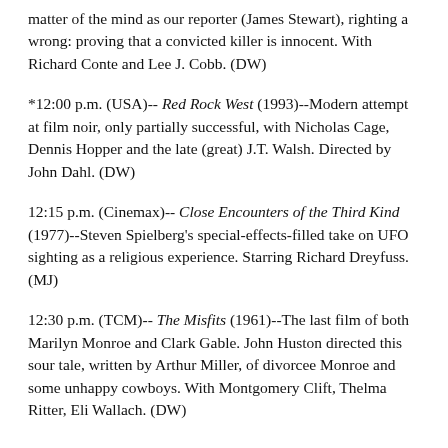matter of the mind as our reporter (James Stewart), righting a wrong: proving that a convicted killer is innocent. With Richard Conte and Lee J. Cobb. (DW)
*12:00 p.m. (USA)-- Red Rock West (1993)--Modern attempt at film noir, only partially successful, with Nicholas Cage, Dennis Hopper and the late (great) J.T. Walsh. Directed by John Dahl. (DW)
12:15 p.m. (Cinemax)-- Close Encounters of the Third Kind (1977)--Steven Spielberg's special-effects-filled take on UFO sighting as a religious experience. Starring Richard Dreyfuss. (MJ)
12:30 p.m. (TCM)-- The Misfits (1961)--The last film of both Marilyn Monroe and Clark Gable. John Huston directed this sour tale, written by Arthur Miller, of divorcee Monroe and some unhappy cowboys. With Montgomery Clift, Thelma Ritter, Eli Wallach. (DW)